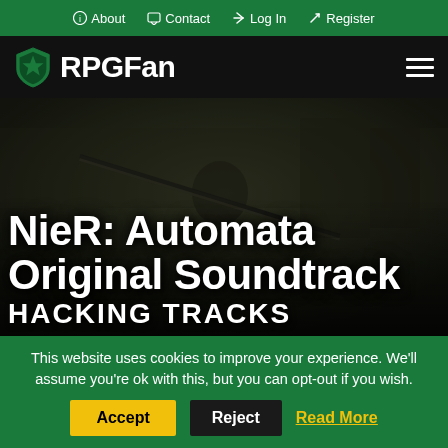About  Contact  Log In  Register
RPGFan
[Figure (screenshot): Dark hero image of a character wielding a long weapon, with overlaid text: NieR: Automata Original Soundtrack HACKING TRACKS]
This website uses cookies to improve your experience. We'll assume you're ok with this, but you can opt-out if you wish.
Accept  Reject  Read More